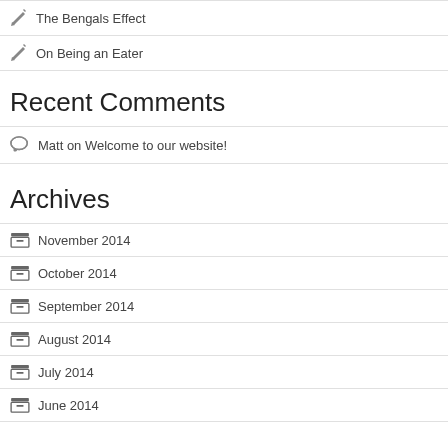The Bengals Effect
On Being an Eater
Recent Comments
Matt on Welcome to our website!
Archives
November 2014
October 2014
September 2014
August 2014
July 2014
June 2014